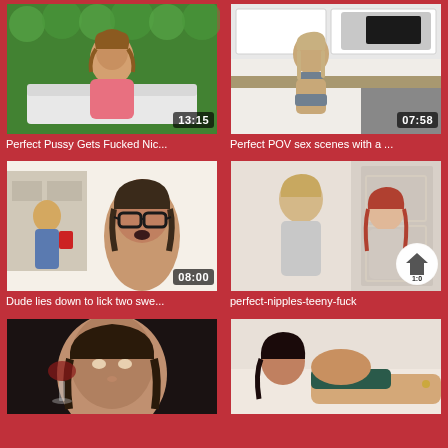[Figure (screenshot): Video thumbnail 1 - woman in pink top sitting on white sofa in front of green hedge wall, duration 13:15]
Perfect Pussy Gets Fucked Nic...
[Figure (screenshot): Video thumbnail 2 - woman in kitchen wearing bikini, duration 07:58]
Perfect POV sex scenes with a ...
[Figure (screenshot): Video thumbnail 3 - woman with glasses at table, others in background, duration 08:00]
Dude lies down to lick two swe...
[Figure (screenshot): Video thumbnail 4 - young man and woman facing each other indoors, duration with circle icon]
perfect-nipples-teeny-fuck
[Figure (screenshot): Video thumbnail 5 - woman drinking from wine glass]
[Figure (screenshot): Video thumbnail 6 - woman lying on bed]